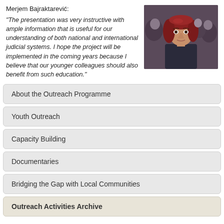Merjem Bajraktarević:
"The presentation was very instructive with ample information that is useful for our understanding of both national and international judicial systems. I hope the project will be implemented in the coming years because I believe that our younger colleagues should also benefit from such education."
[Figure (photo): Photo of a young woman with red/auburn hair in a group setting, wearing dark clothing]
About the Outreach Programme
Youth Outreach
Capacity Building
Documentaries
Bridging the Gap with Local Communities
Outreach Activities Archive